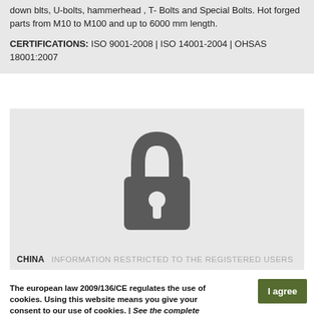down blts, U-bolts, hammerhead , T- Bolts and Special Bolts. Hot forged parts from M10 to M100 and up to 6000 mm length.
CERTIFICATIONS: ISO 9001-2008 | ISO 14001-2004 | OHSAS 18001:2007
[Figure (illustration): Lock icon indicating restricted access content]
CHINA  INFORMATION RESTRICTED TO THE REGISTERED USERS
The european law 2009/136/CE regulates the use of cookies. Using this website means you give your consent to our use of cookies. | See the complete information